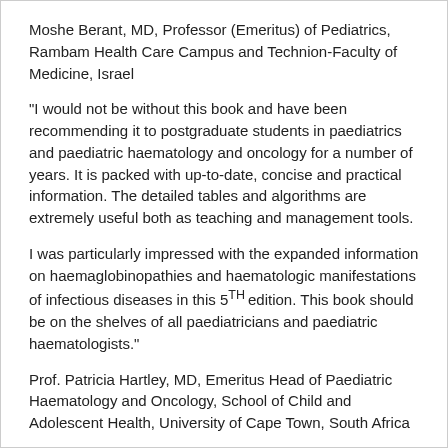Moshe Berant, MD, Professor (Emeritus) of Pediatrics, Rambam Health Care Campus and Technion-Faculty of Medicine, Israel
“I would not be without this book and have been recommending it to postgraduate students in paediatrics and paediatric haematology and oncology for a number of years. It is packed with up-to-date, concise and practical information. The detailed tables and algorithms are extremely useful both as teaching and management tools.
I was particularly impressed with the expanded information on haemaglobinopathies and haematologic manifestations of infectious diseases in this 5th edition. This book should be on the shelves of all paediatricians and paediatric haematologists.”
Prof. Patricia Hartley, MD, Emeritus Head of Paediatric Haematology and Oncology, School of Child and Adolescent Health, University of Cape Town, South Africa